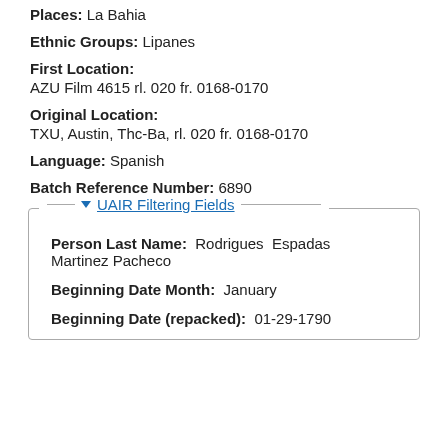Places: La Bahia
Ethnic Groups: Lipanes
First Location:
AZU Film 4615 rl. 020 fr. 0168-0170
Original Location:
TXU, Austin, Thc-Ba, rl. 020 fr. 0168-0170
Language: Spanish
Batch Reference Number: 6890
UAIR Filtering Fields
Person Last Name: Rodrigues  Espadas Martinez Pacheco
Beginning Date Month: January
Beginning Date (repacked): 01-29-1790